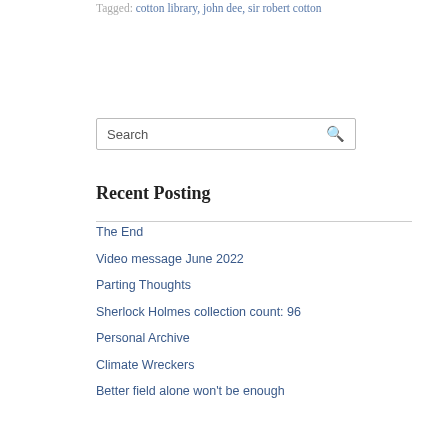Tagged: cotton library, john dee, sir robert cotton
Search
Recent Posting
The End
Video message June 2022
Parting Thoughts
Sherlock Holmes collection count: 96
Personal Archive
Climate Wreckers
Better field alone won't be enough